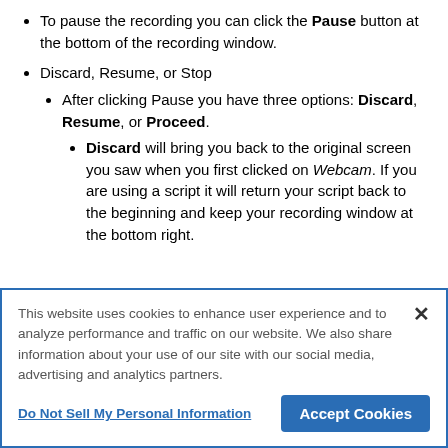To pause the recording you can click the Pause button at the bottom of the recording window.
Discard, Resume, or Stop
After clicking Pause you have three options: Discard, Resume, or Proceed.
Discard will bring you back to the original screen you saw when you first clicked on Webcam. If you are using a script it will return your script back to the beginning and keep your recording window at the bottom right.
This website uses cookies to enhance user experience and to analyze performance and traffic on our website. We also share information about your use of our site with our social media, advertising and analytics partners.
Do Not Sell My Personal Information
Accept Cookies